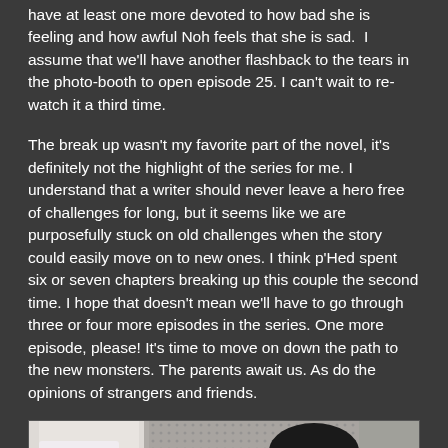have at least one more devoted to how bad she is feeling and how awful Noh feels that she is sad. I assume that we'll have another flashback to the tears in the photo-booth to open episode 25. I can't wait to re-watch it a third time.
The break up wasn't my favorite part of the novel, it's definitely not the highlight of the series for me. I understand that a writer should never leave a hero free of challenges for long, but it seems like we are purposefully stuck on old challenges when the story could easily move on to new ones. I think p'Hed spent six or seven chapters breaking up this couple the second time. I hope that doesn't mean we'll have to go through three or four more episodes in the series. One more episode, please! It's time to move on down the path to the new monsters. The parents await us. As do the opinions of strangers and friends.
[Figure (photo): A photo showing two people, one in a light-colored outfit on the left and another person with short dark hair visible on the right side, against a textured background.]